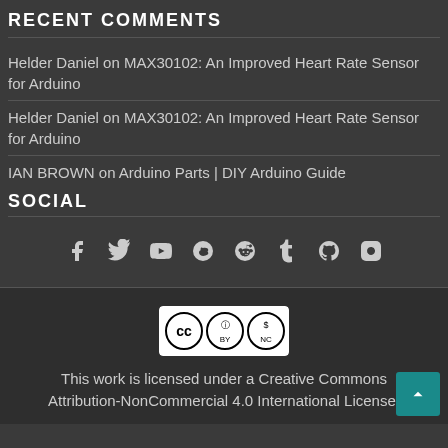RECENT COMMENTS
Helder Daniel on MAX30102: An Improved Heart Rate Sensor for Arduino
Helder Daniel on MAX30102: An Improved Heart Rate Sensor for Arduino
IAN BROWN on Arduino Parts | DIY Arduino Guide
SOCIAL
[Figure (infographic): Social media icons: Facebook, Twitter, YouTube, Skype, Reddit, Tumblr, GitHub, Instagram]
[Figure (logo): Creative Commons BY-NC license badge]
This work is licensed under a Creative Commons Attribution-NonCommercial 4.0 International License.